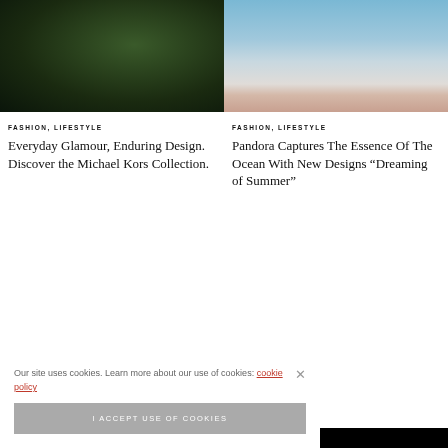[Figure (photo): Dark blurred outdoor/forest photo, left article thumbnail]
[Figure (photo): Woman in light pink outfit sitting on beach with ocean in background, right article thumbnail]
FASHION, LIFESTYLE
Everyday Glamour, Enduring Design. Discover the Michael Kors Collection.
FASHION, LIFESTYLE
Pandora Captures The Essence Of The Ocean With New Designs “Dreaming of Summer”
Our site uses cookies. Learn more about our use of cookies: cookie policy
I ACCEPT USE OF COOKIES